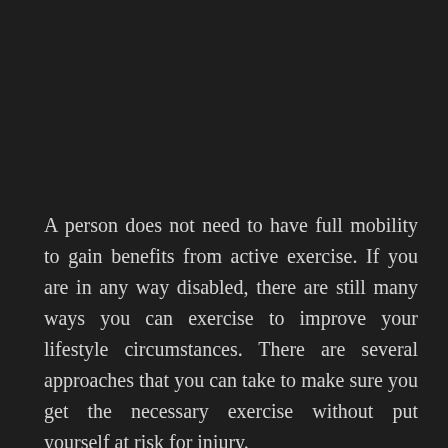A person does not need to have full mobility to gain benefits from active exercise. If you are in any way disabled, there are still many ways you can exercise to improve your lifestyle circumstances. There are several approaches that you can take to make sure you get the necessary exercise without put yourself at risk for injury.
When you exercise, your body release chemicals